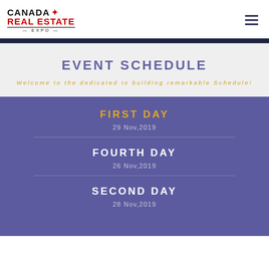CANADA REAL ESTATE EXPO
EVENT SCHEDULE
Welcome to the dedicated to building remarkable Schedule!
FIRST DAY
29 Nov,2019
FOURTH DAY
26 Nov,2019
SECOND DAY
28 Nov,2019